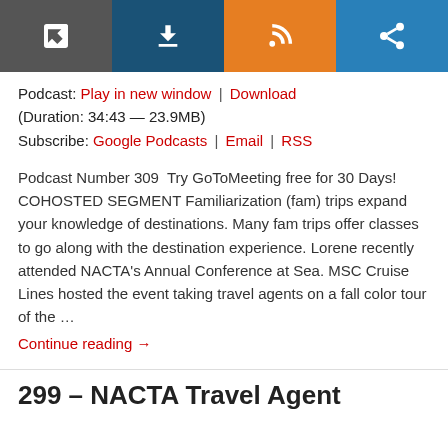[Figure (other): Toolbar with four buttons: open-in-new-window (dark gray), download (navy), RSS (orange), share (blue)]
Podcast: Play in new window | Download (Duration: 34:43 — 23.9MB)
Subscribe: Google Podcasts | Email | RSS
Podcast Number 309  Try GoToMeeting free for 30 Days! COHOSTED SEGMENT Familiarization (fam) trips expand your knowledge of destinations. Many fam trips offer classes to go along with the destination experience. Lorene recently attended NACTA's Annual Conference at Sea. MSC Cruise Lines hosted the event taking travel agents on a fall color tour of the ...
Continue reading →
299 – NACTA Travel Agent